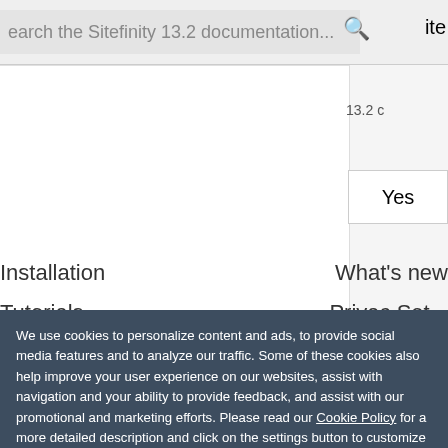earch the Sitefinity 13.2 documentation...
Yes
Installation
What's new
Tutorials
Privacy Settings
We use cookies to personalize content and ads, to provide social media features and to analyze our traffic. Some of these cookies also help improve your user experience on our websites, assist with navigation and your ability to provide feedback, and assist with our promotional and marketing efforts. Please read our Cookie Policy for a more detailed description and click on the settings button to customize how the site uses cookies for you.
ACCEPT COOKIES
COOKIES SETTINGS